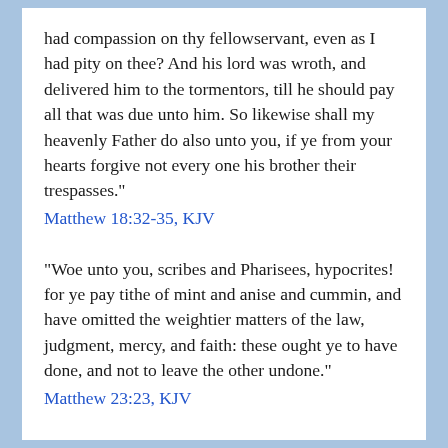had compassion on thy fellowservant, even as I had pity on thee? And his lord was wroth, and delivered him to the tormentors, till he should pay all that was due unto him. So likewise shall my heavenly Father do also unto you, if ye from your hearts forgive not every one his brother their trespasses."
Matthew 18:32-35, KJV
"Woe unto you, scribes and Pharisees, hypocrites! for ye pay tithe of mint and anise and cummin, and have omitted the weightier matters of the law, judgment, mercy, and faith: these ought ye to have done, and not to leave the other undone."
Matthew 23:23, KJV